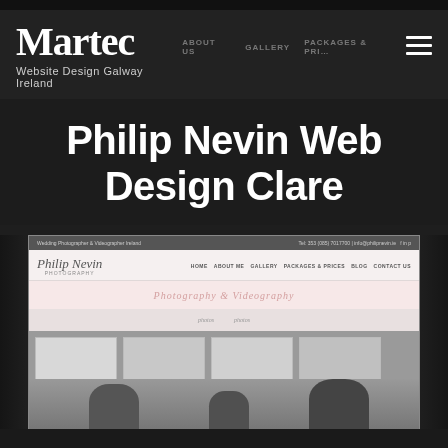[Figure (screenshot): Screenshot of Martec Website Design Galway Ireland website header with logo, navigation links (ABOUT US, GALLERY, PACKAGES & PRICES), hamburger menu icon]
Philip Nevin Web Design Clare
[Figure (screenshot): Screenshot of Philip Nevin Photography website showing the website design with header navigation (HOME, ABOUT ME, GALLERY, PACKAGES & PRICES, BLOG, CONTACT US), a pink decorative band, and a photo gallery section with black and white wedding photography]